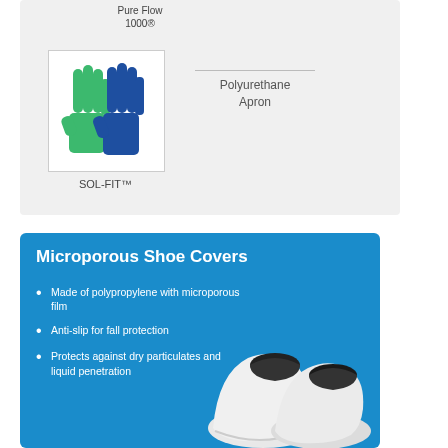Pure Flow 1000®
[Figure (photo): Two protective gloves - one green and one blue/dark, overlapping each other]
SOL-FIT™
Polyurethane Apron
Microporous Shoe Covers
Made of polypropylene with microporous film
Anti-slip for fall protection
Protects against dry particulates and liquid penetration
[Figure (photo): Two white microporous shoe covers with black soles/openings, shown side by side]